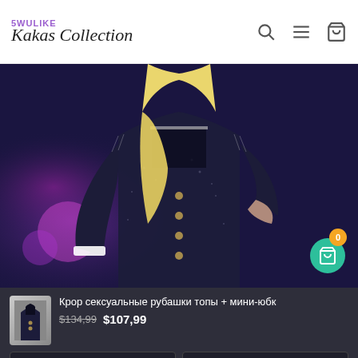[Figure (logo): 5WULIKE Kakas Collection logo with search, menu, and bag icons]
[Figure (photo): A blonde woman wearing a dark sparkly tweed blazer/jacket on a stage with purple/blue lighting]
Крор сексуальные рубашки топы + мини-юбк
$134,99  $107,99
1
XS
Добавить в корзину